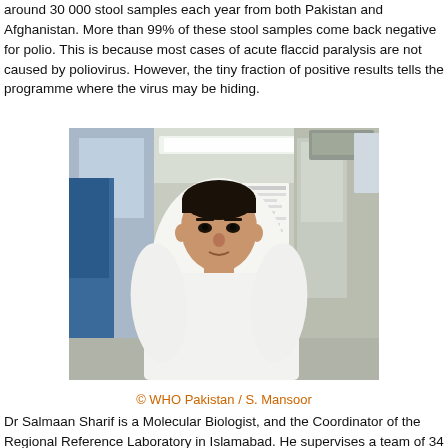around 30 000 stool samples each year from both Pakistan and Afghanistan. More than 99% of these stool samples come back negative for polio. This is because most cases of acute flaccid paralysis are not caused by poliovirus. However, the tiny fraction of positive results tells the programme where the virus may be hiding.
[Figure (photo): A man in a white traditional shalwar kameez stands in what appears to be a laboratory. Behind him are glass partitions, a whiteboard or paper on the wall, laboratory equipment, and overhead fluorescent lighting. A person in a blue garment is partially visible on the left.]
© WHO Pakistan / S. Mansoor
Dr Salmaan Sharif is a Molecular Biologist, and the Coordinator of the Regional Reference Laboratory in Islamabad. He supervises a team of 34 lab staff, each responsible for a different component of surveillance sample